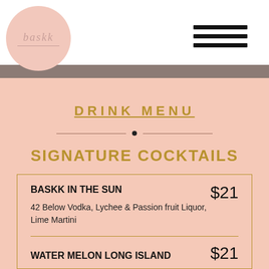[Figure (logo): Baskk logo: pink circle with cursive text 'baskk' and underline]
DRINK MENU
SIGNATURE COCKTAILS
BASKK IN THE SUN — $21
42 Below Vodka, Lychee & Passion fruit Liquor, Lime Martini
WATER MELON LONG ISLAND — $21